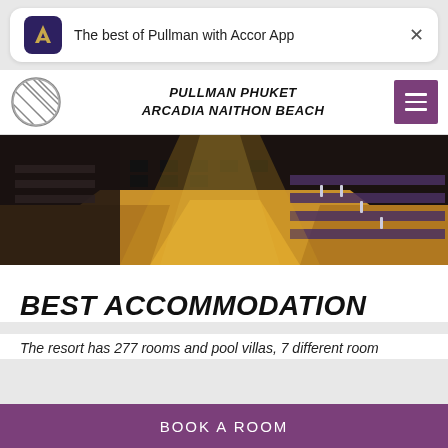[Figure (screenshot): Mobile app notification banner for Accor App reading 'The best of Pullman with Accor App' with purple Accor logo icon and X close button]
PULLMAN PHUKET
ARCADIA NAITHON BEACH
[Figure (photo): Conference room with rows of chairs at long tables with wooden floor and purple/black decor]
BEST ACCOMMODATION
The resort has 277 rooms and pool villas, 7 different room
BOOK A ROOM